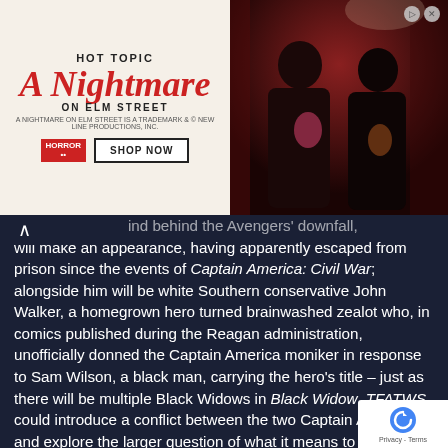[Figure (photo): Hot Topic advertisement for A Nightmare on Elm Street merchandise. Left side shows the brand name HOT TOPIC, stylized red italic title 'A Nightmare on Elm Street', a horror badge, and a SHOP NOW button. Right side shows two people in dark clothing against a red draped background.]
mo, the mastermind behind the Avengers' downfall, will make an appearance, having apparently escaped from prison since the events of Captain America: Civil War; alongside him will be white Southern conservative John Walker, a homegrown hero turned brainwashed zealot who, in comics published during the Reagan administration, unofficially donned the Captain America moniker in response to Sam Wilson, a black man, carrying the hero's title – just as there will be multiple Black Widows in Black Widow, TFATWS could introduce a conflict between the two Captain Americas, and explore the larger question of what it means to be the face of the USA, and who has the right to earn that honor. It's unclear just how deeply Marvel wishes to get into this political discussion, but if done correctly it could